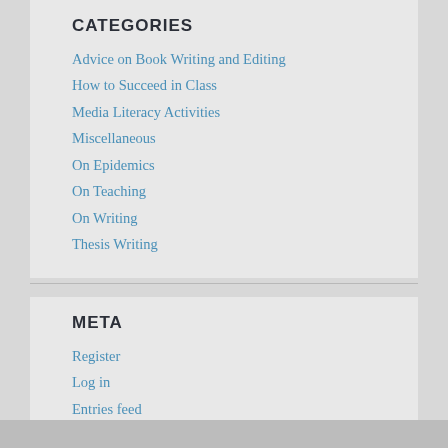CATEGORIES
Advice on Book Writing and Editing
How to Succeed in Class
Media Literacy Activities
Miscellaneous
On Epidemics
On Teaching
On Writing
Thesis Writing
META
Register
Log in
Entries feed
Comments feed
WordPress.com